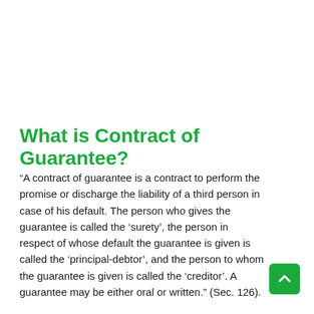What is Contract of Guarantee?
“A contract of guarantee is a contract to perform the promise or discharge the liability of a third person in case of his default. The person who gives the guarantee is called the ‘surety’, the person in respect of whose default the guarantee is given is called the ‘principal-debtor’, and the person to whom the guarantee is given is called the ‘creditor’. A guarantee may be either oral or written.” (Sec. 126).